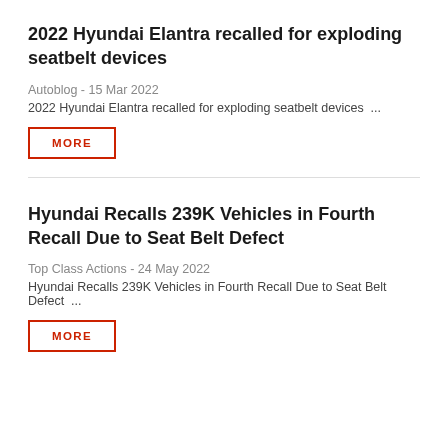2022 Hyundai Elantra recalled for exploding seatbelt devices
Autoblog - 15 Mar 2022
2022 Hyundai Elantra recalled for exploding seatbelt devices ...
MORE
Hyundai Recalls 239K Vehicles in Fourth Recall Due to Seat Belt Defect
Top Class Actions - 24 May 2022
Hyundai Recalls 239K Vehicles in Fourth Recall Due to Seat Belt Defect ...
MORE